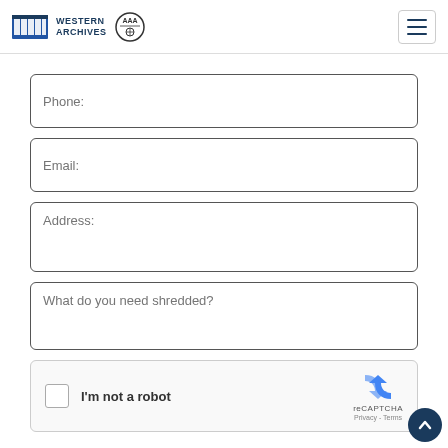Western Archives | AAA | Navigation menu
Phone:
Email:
Address:
What do you need shredded?
[Figure (other): reCAPTCHA widget with checkbox labeled 'I'm not a robot' and reCAPTCHA logo with Privacy - Terms links]